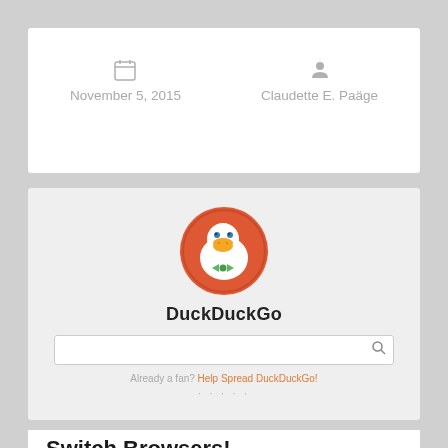November 5, 2015
Claudette E. Paäge
[Figure (screenshot): Screenshot of DuckDuckGo search engine homepage showing the DuckDuckGo logo (duck mascot in red circle), the name DuckDuckGo, a search bar, and text reading 'Already a fan? Help Spread DuckDuckGo!']
Switch Browsers!
Did you know...a quick way to slow down the amount of personal information being gathered about you online is to